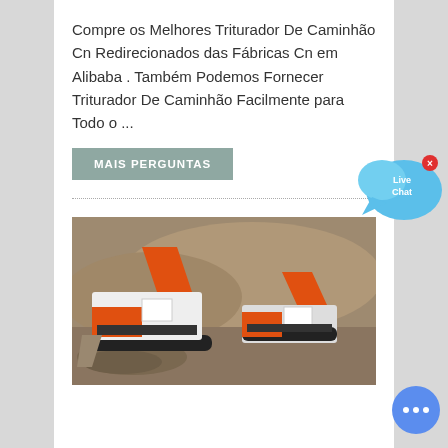Compre os Melhores Triturador De Caminhão Cn Redirecionados das Fábricas Cn em Alibaba . Também Podemos Fornecer Triturador De Caminhão Facilmente para Todo o ...
MAIS PERGUNTAS
[Figure (photo): Photo of orange and black mobile rock crusher/track-mounted crushing machine operating in a quarry with gravel and rocky terrain]